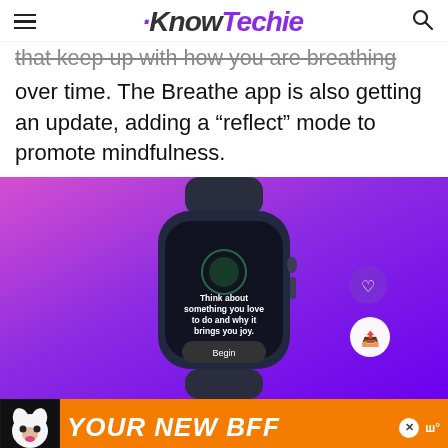KnowTechie
that keep up with how you are breathing over time. The Breathe app is also getting an update, adding a “reflect” mode to promote mindfulness.
[Figure (photo): Apple Watch displaying the Breathe/Mindfulness app with text 'Think about something you love to do and why it brings you joy.' and a 'Begin' button, shown against a purple gradient background.]
[Figure (infographic): Advertisement banner with dog image and text 'YOUR NEW BFF' on orange background.]